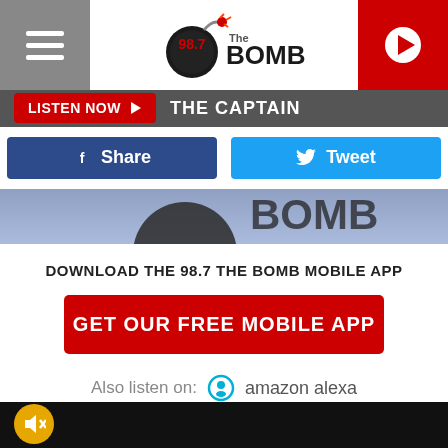[Figure (logo): 98.7 The Bomb radio station logo with bomb icon]
LISTEN NOW ▶  THE CAPTAIN
f Share
Tweet
[Figure (screenshot): Partial radio station image band]
DOWNLOAD THE 98.7 THE BOMB MOBILE APP
GET OUR FREE MOBILE APP
Also listen on:  amazon alexa